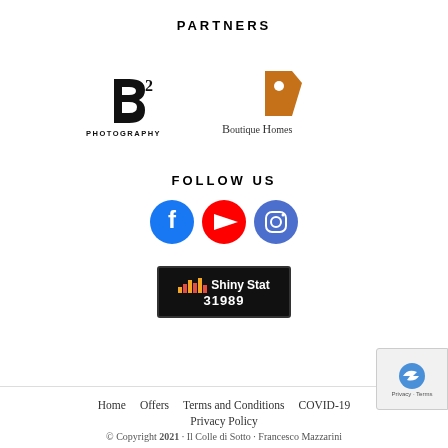PARTNERS
[Figure (logo): B3 Photography logo — stylized B with superscript 3 and PHOTOGRAPHY text below]
[Figure (logo): Boutique Homes logo — orange house/tag icon with BOUTIQUE HOMES text]
FOLLOW US
[Figure (logo): Three social media icons: Facebook (blue circle), YouTube (red circle), Instagram (blue circle)]
[Figure (logo): ShinyStats badge showing bar chart icon, ShinyStats branding, and number 31989]
Home   Offers   Terms and Conditions   COVID-19   Privacy Policy
© Copyright 2021 · Il Colle di Sotto · Francesco Mazzarini